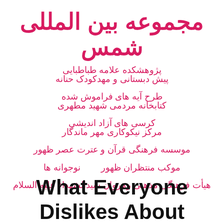مجموعه بین المللی شمس
پژوهشکده علامه طباطبایی
پیش دبستانی و مهدکودک حنانه
طرح آیه های فراموش شده
کتابخانه مردمی شهید مطهری
کرسی های آزاد اندیشی
مرکز نیکوکاری مهر ماندگار
موسسه فرهنگی قرآن و عترت عصر ظهور
موکب منتظران ظهور
نوجوانه ها
هیأت فرهنگی مذهبی رهروان سیدالشهداء علیه السلام
What Everyone Dislikes About